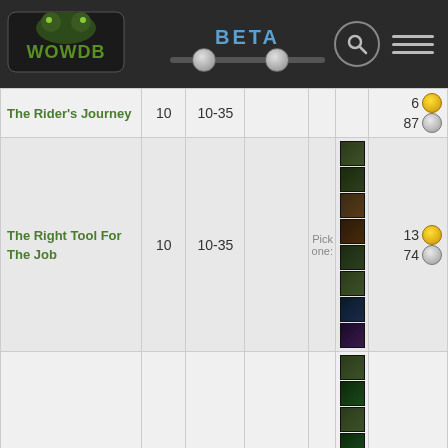WOWDB BETA
| Quest | Level | Range |  | Reward | Items | Gold |
| --- | --- | --- | --- | --- | --- | --- |
| The Rider's Journey | 10 | 10-35 |  |  |  | 6 gold 87 silver |
| The Right Tool For The Job | 10 | 10-35 |  | Pick one: | (8 items) | 13 gold 74 silver |
| The Rumpus | 10 | 10-35 |  | Pick one: | (9 items) | 27 gold 48 silver |
| The Scouts Return | 10 | 10-35 |  |  |  | 1 gold 37 silver |